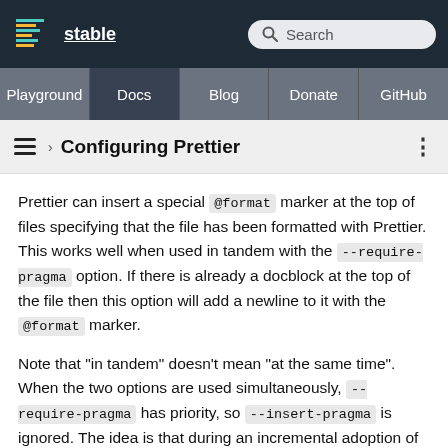stable | Search
Playground | Docs | Blog | Donate | GitHub
› Configuring Prettier
Prettier can insert a special @format marker at the top of files specifying that the file has been formatted with Prettier. This works well when used in tandem with the --require-pragma option. If there is already a docblock at the top of the file then this option will add a newline to it with the @format marker.
Note that "in tandem" doesn't mean "at the same time". When the two options are used simultaneously, --require-pragma has priority, so --insert-pragma is ignored. The idea is that during an incremental adoption of Prettier in a big codebase, the developers participating in the transition process use --insert-pragma whereas